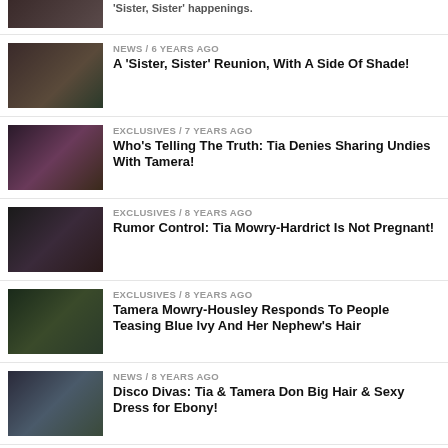[Figure (photo): Partial top item thumbnail]
NEWS / 6 years ago — A 'Sister, Sister' Reunion, With A Side Of Shade!
EXCLUSIVES / 7 years ago — Who's Telling The Truth: Tia Denies Sharing Undies With Tamera!
EXCLUSIVES / 8 years ago — Rumor Control: Tia Mowry-Hardrict Is Not Pregnant!
EXCLUSIVES / 8 years ago — Tamera Mowry-Housley Responds To People Teasing Blue Ivy And Her Nephew's Hair
NEWS / 8 years ago — Disco Divas: Tia & Tamera Don Big Hair & Sexy Dress for Ebony!
MOVIES / 8 years ago — Hollywood Date Night! Tia Mowry-Hardrict and Hubby Show PDA on "Muppets" Red Carpet
EXCLUSIVES / 8 years ago — (partial)